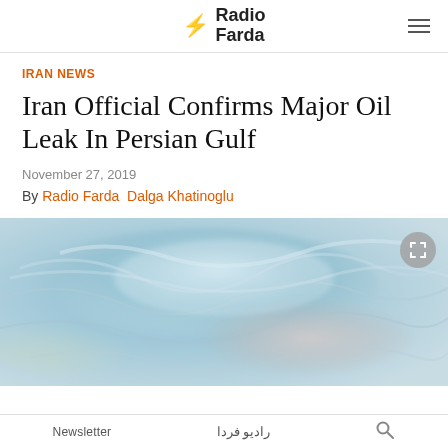Radio Farda
IRAN NEWS
Iran Official Confirms Major Oil Leak In Persian Gulf
November 27, 2019
By Radio Farda  Dalga Khatinoglu
[Figure (photo): Aerial or close-up view of oil sheen on water surface — iridescent swirling colors of blue, teal, and light pink indicating oil spill on the Persian Gulf]
Newsletter    رادیو فردا    🔍